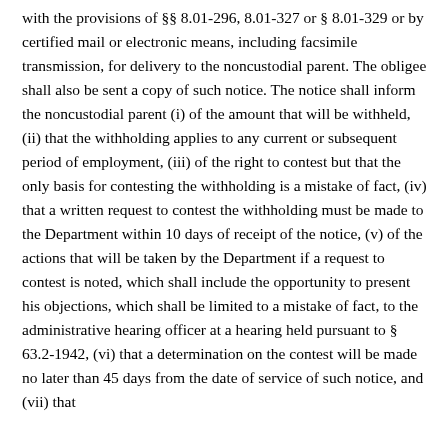with the provisions of §§ 8.01-296, 8.01-327 or § 8.01-329 or by certified mail or electronic means, including facsimile transmission, for delivery to the noncustodial parent. The obligee shall also be sent a copy of such notice. The notice shall inform the noncustodial parent (i) of the amount that will be withheld, (ii) that the withholding applies to any current or subsequent period of employment, (iii) of the right to contest but that the only basis for contesting the withholding is a mistake of fact, (iv) that a written request to contest the withholding must be made to the Department within 10 days of receipt of the notice, (v) of the actions that will be taken by the Department if a request to contest is noted, which shall include the opportunity to present his objections, which shall be limited to a mistake of fact, to the administrative hearing officer at a hearing held pursuant to § 63.2-1942, (vi) that a determination on the contest will be made no later than 45 days from the date of service of such notice, and (vii) that